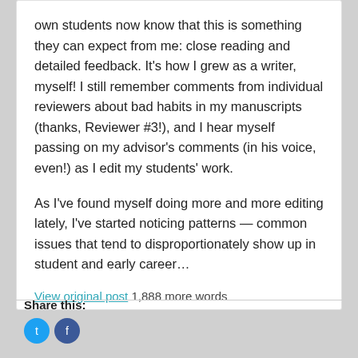own students now know that this is something they can expect from me: close reading and detailed feedback. It's how I grew as a writer, myself! I still remember comments from individual reviewers about bad habits in my manuscripts (thanks, Reviewer #3!), and I hear myself passing on my advisor's comments (in his voice, even!) as I edit my students' work.
As I've found myself doing more and more editing lately, I've started noticing patterns — common issues that tend to disproportionately show up in student and early career…
View original post 1,888 more words
Share this: